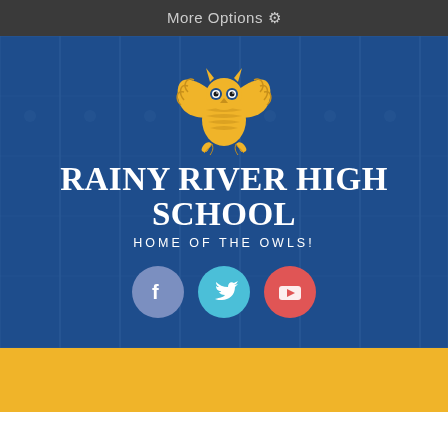More Options ⚙
[Figure (logo): Rainy River High School owl mascot logo in gold on blue background, with school name and tagline]
RAINY RIVER HIGH SCHOOL
HOME OF THE OWLS!
[Figure (infographic): Social media icons: Facebook (blue circle with f), Twitter (cyan circle with bird), YouTube (red circle with play button)]
For Students